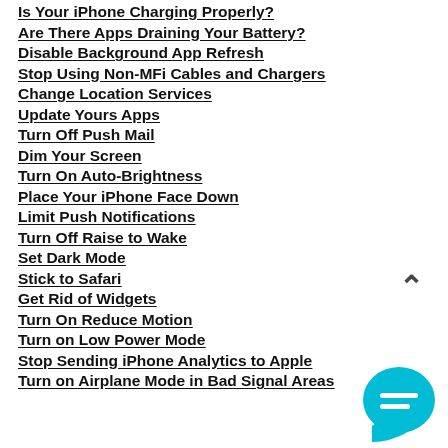Is Your iPhone Charging Properly?
Are There Apps Draining Your Battery?
Disable Background App Refresh
Stop Using Non-MFi Cables and Chargers
Change Location Services
Update Yours Apps
Turn Off Push Mail
Dim Your Screen
Turn On Auto-Brightness
Place Your iPhone Face Down
Limit Push Notifications
Turn Off Raise to Wake
Set Dark Mode
Stick to Safari
Get Rid of Widgets
Turn On Reduce Motion
Turn on Low Power Mode
Stop Sending iPhone Analytics to Apple
Turn on Airplane Mode in Bad Signal Areas
[Figure (illustration): Upward caret / chevron icon (^) in dark grey, indicating scroll up or collapse]
[Figure (illustration): Cyan/teal speech bubble chat icon with two white horizontal lines inside, bottom-right corner]